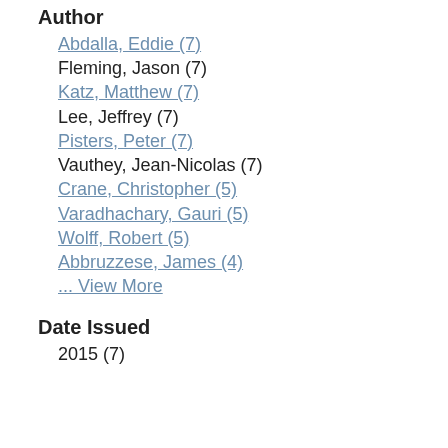Author
Abdalla, Eddie (7)
Fleming, Jason (7)
Katz, Matthew (7)
Lee, Jeffrey (7)
Pisters, Peter (7)
Vauthey, Jean-Nicolas (7)
Crane, Christopher (5)
Varadhachary, Gauri (5)
Wolff, Robert (5)
Abbruzzese, James (4)
... View More
Date Issued
2015 (7)